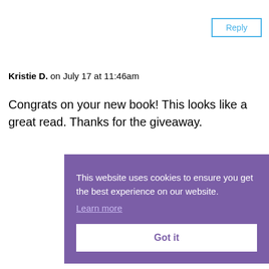Reply
Kristie D. on July 17 at 11:46am
Congrats on your new book! This looks like a great read. Thanks for the giveaway.
Reply
This website uses cookies to ensure you get the best experience on our website.
Learn more
Got it